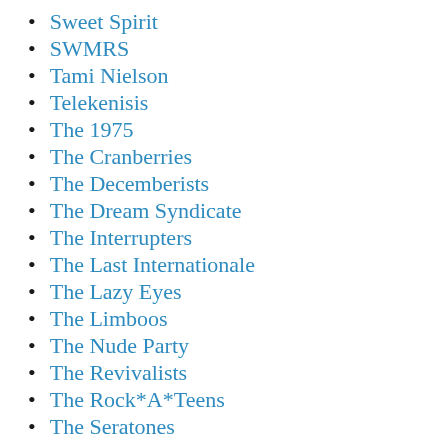Sweet Spirit
SWMRS
Tami Nielson
Telekenisis
The 1975
The Cranberries
The Decemberists
The Dream Syndicate
The Interrupters
The Last Internationale
The Lazy Eyes
The Limboos
The Nude Party
The Revivalists
The Rock*A*Teens
The Seratones